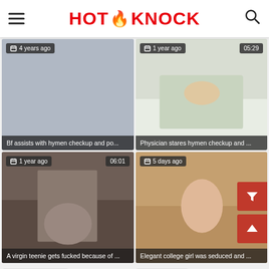HOT KNOCK
[Figure (screenshot): Video thumbnail: Bf assists with hymen checkup and po... — 4 years ago]
[Figure (screenshot): Video thumbnail: Physician stares hymen checkup and ... — 1 year ago, 05:29]
[Figure (screenshot): Video thumbnail: A virgin teenie gets fucked because of ... — 1 year ago, 06:01]
[Figure (screenshot): Video thumbnail: Elegant college girl was seduced and ... — 5 days ago]
10 months ago
1 year ago